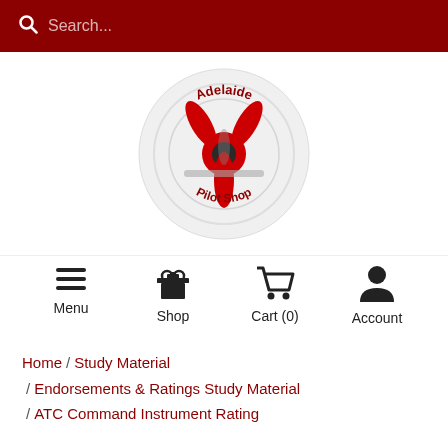Search...
[Figure (logo): Adelaide Pilot Shop circular logo featuring a red propeller airplane viewed from the front, with the text 'Adelaide' at the top and 'Pilot Shop' at the bottom inside a circular emblem]
Menu  Shop  Cart (0)  Account
Home / Study Material / Endorsements & Ratings Study Material / ATC Command Instrument Rating